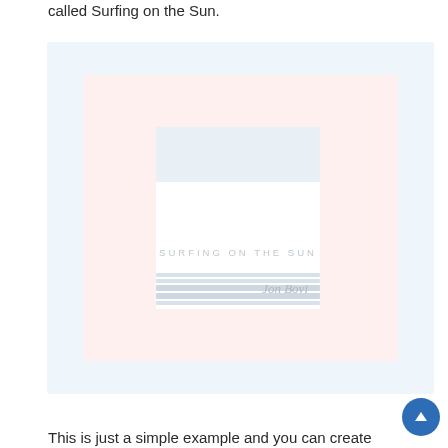called Surfing on the Sun.
[Figure (illustration): A book cover image showing a faded, light-colored book titled 'SURFING ON THE SUN' with a signature reading 'Jon Bovi' at the bottom right. The cover has horizontal lines and a blue-grey block design at the bottom.]
This is just a simple example and you can create